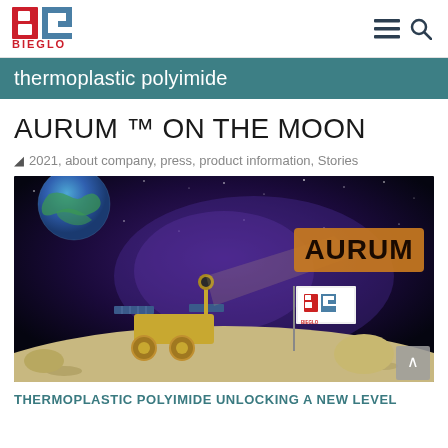[Figure (logo): BIEGLO company logo with stylized BG letters in red and teal, with BIEGLO text in red below]
thermoplastic polyimide
AURUM ™ ON THE MOON
2021, about company, press, product information, Stories
[Figure (illustration): Illustration of a lunar rover on the moon surface against a starry night sky with Earth visible. The rover has a Bieglo flag planted nearby and the word AURUM in an orange-brown box in the upper right corner.]
THERMOPLASTIC POLYIMIDE UNLOCKING A NEW LEVEL